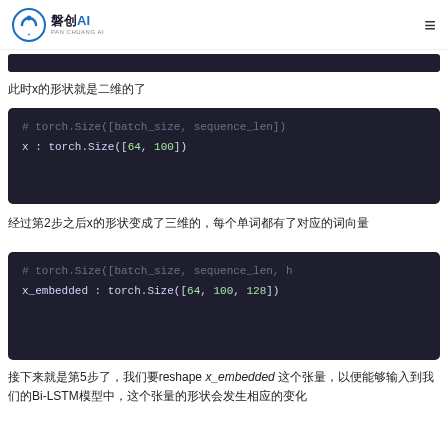磐创AI
[Figure (screenshot): Dark code block (top, partially visible)]
此时x的形状就是二维的了
[Figure (screenshot): Code block showing: # torch.Size([batch_size, sequence_len])
x : torch.Size([64, 100])]
经过第2步之后x的形状变成了三维的，每个单词都有了对应的词向量
[Figure (screenshot): Code block showing: # torch.Size([batch_size, sequence_len, h
x_embedded : torch.Size([64, 100, 128])]
接下来就是第5步了，我们要reshape x_embedded 这个张量，以便能够输入到我们的Bi-LSTM模型中，这个张量的形状会发生相应的变化